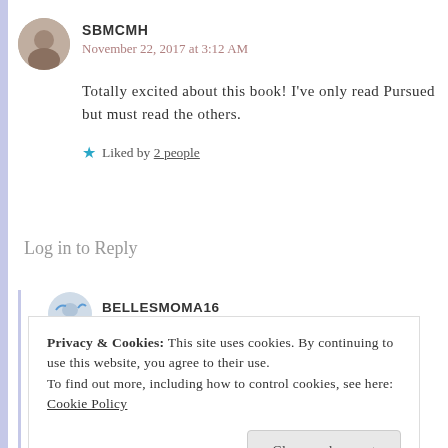[Figure (photo): Circular avatar photo of user SBMCMH]
SBMCMH
November 22, 2017 at 3:12 AM
Totally excited about this book! I've only read Pursued but must read the others.
Liked by 2 people
Log in to Reply
[Figure (photo): Circular avatar photo of user BELLESMOMA16]
BELLESMOMA16
November 22, 2017 at 6:58 AM
Privacy & Cookies: This site uses cookies. By continuing to use this website, you agree to their use.
To find out more, including how to control cookies, see here: Cookie Policy
Close and accept